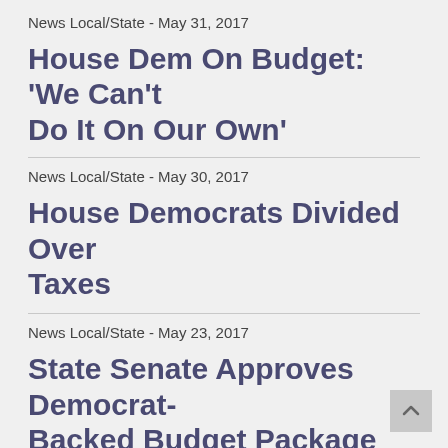News Local/State - May 31, 2017
House Dem On Budget: 'We Can't Do It On Our Own'
News Local/State - May 30, 2017
House Democrats Divided Over Taxes
News Local/State - May 23, 2017
State Senate Approves Democrat-Backed Budget Package
News Local/State - May 15, 2017
Senate Budget Negotiators: We Have No Plan B — Yet